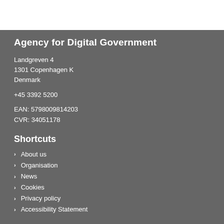Agency for Digital Government
Landgreven 4
1301 Copenhagen K
Denmark
+45 3392 5200
EAN: 5798009814203
CVR: 34051178
Shortcuts
About us
Organisation
News
Cookies
Privacy policy
Accessibility Statement